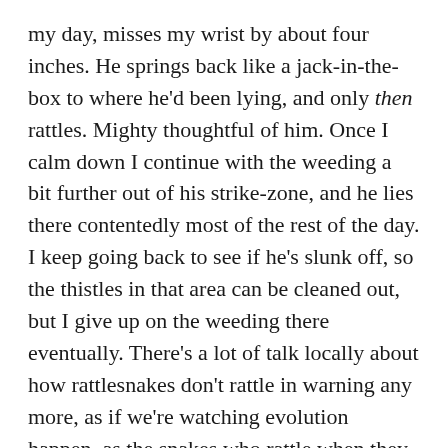my day, misses my wrist by about four inches. He springs back like a jack-in-the-box to where he'd been lying, and only then rattles. Mighty thoughtful of him. Once I calm down I continue with the weeding a bit further out of his strike-zone, and he lies there contentedly most of the rest of the day. I keep going back to see if he's slunk off, so the thistles in that area can be cleaned out, but I give up on the weeding there eventually. There's a lot of talk locally about how rattlesnakes don't rattle in warning any more, as if we're watching evolution happen, as the snakes who rattle when they run into humans are more often than not removed from the gene pool. I'll note that this is a topic of conversation and a theory that is being discussed over the whole of The West, and a quick glance at the Internet on the subject will reveal it's been talked about for the last century. Professionals